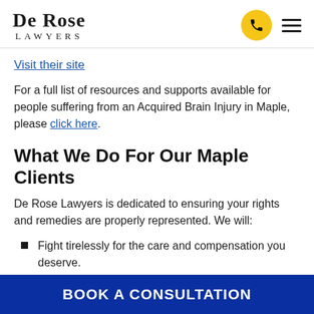De Rose Lawyers
Visit their site
For a full list of resources and supports available for people suffering from an Acquired Brain Injury in Maple, please click here.
What We Do For Our Maple Clients
De Rose Lawyers is dedicated to ensuring your rights and remedies are properly represented. We will:
Fight tirelessly for the care and compensation you deserve.
BOOK A CONSULTATION